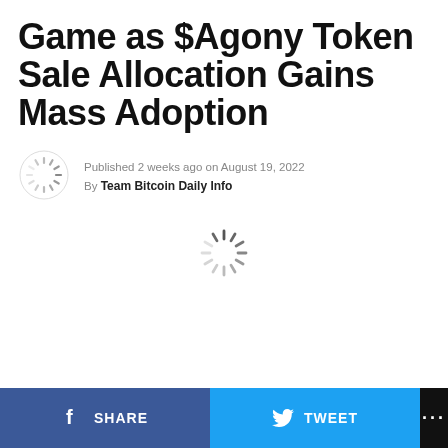Game as $Agony Token Sale Allocation Gains Mass Adoption
Published 2 weeks ago on August 19, 2022 By Team Bitcoin Daily Info
[Figure (other): Loading spinner icon in center of page]
SHARE  TWEET  ...